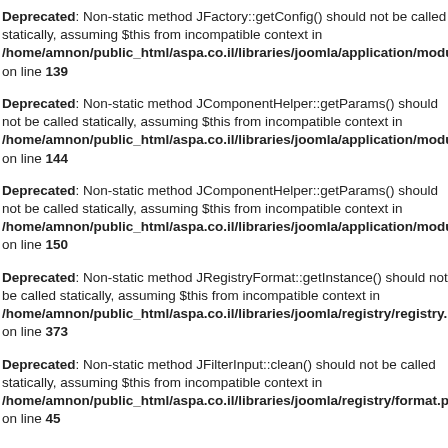Deprecated: Non-static method JFactory::getConfig() should not be called statically, assuming $this from incompatible context in /home/amnon/public_html/aspa.co.il/libraries/joomla/application/module/helper on line 139
Deprecated: Non-static method JComponentHelper::getParams() should not be called statically, assuming $this from incompatible context in /home/amnon/public_html/aspa.co.il/libraries/joomla/application/module/helper on line 144
Deprecated: Non-static method JComponentHelper::getParams() should not be called statically, assuming $this from incompatible context in /home/amnon/public_html/aspa.co.il/libraries/joomla/application/module/helper on line 150
Deprecated: Non-static method JRegistryFormat::getInstance() should not be called statically, assuming $this from incompatible context in /home/amnon/public_html/aspa.co.il/libraries/joomla/registry/registry.php on line 373
Deprecated: Non-static method JFilterInput::clean() should not be called statically, assuming $this from incompatible context in /home/amnon/public_html/aspa.co.il/libraries/joomla/registry/format.php on line 45